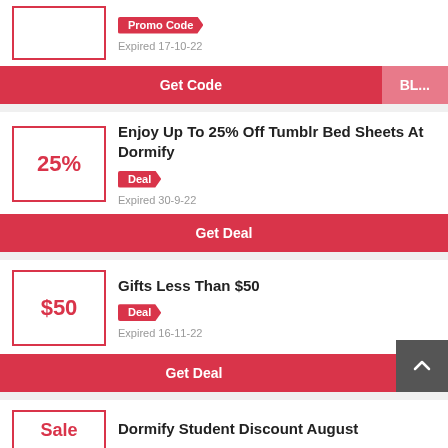Promo Code
Expired 17-10-22
Get Code | BL...
Enjoy Up To 25% Off Tumblr Bed Sheets At Dormify
Deal
Expired 30-9-22
Get Deal
Gifts Less Than $50
Deal
Expired 16-11-22
Get Deal
Dormify Student Discount August